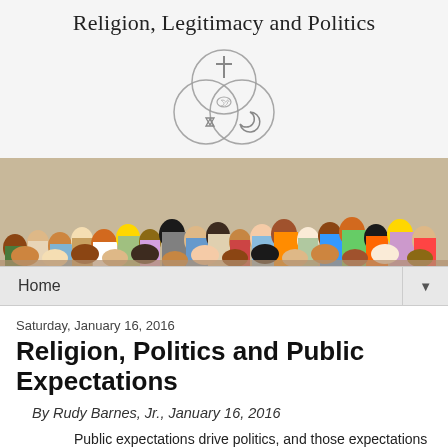Religion, Legitimacy and Politics
[Figure (logo): Three interlocking circles with religious symbols: cross (Christianity) at top, Star of David (Judaism) at lower left, crescent (Islam) at lower right, and a dove in the center overlap area.]
[Figure (photo): A wide banner photo of a diverse crowd of people of various ethnicities, ages, and clothing styles standing together.]
Home
Saturday, January 16, 2016
Religion, Politics and Public Expectations
By Rudy Barnes, Jr., January 16, 2016
Public expectations drive politics, and those expectations are shaped by religious beliefs. Today we would be hard-pressed to